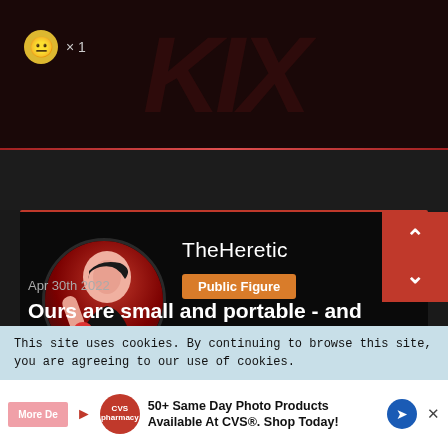[Figure (screenshot): Dark background top section with watermark letters and emoji reaction showing a face emoji with x1 count]
× 1
[Figure (screenshot): Profile card for TheHeretic showing a circular profile photo of a woman in red and black, with name TheHeretic and Public Figure badge in orange]
TheHeretic
Public Figure
Apr 30th 2022
Ours are small and portable - and that keeps
This site uses cookies. By continuing to browse this site, you are agreeing to our use of cookies.
More De
50+ Same Day Photo Products Available At CVS®. Shop Today!